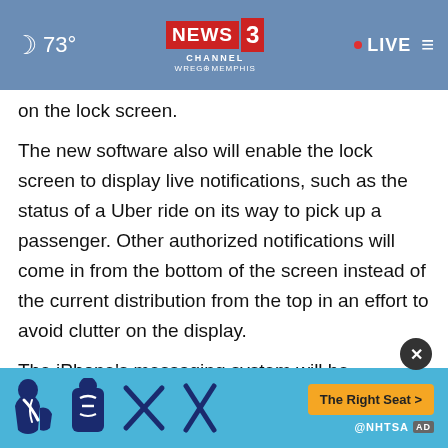73° NEWS CHANNEL 3 WREG MEMPHIS • LIVE
on the lock screen.
The new software also will enable the lock screen to display live notifications, such as the status of a Uber ride on its way to pick up a passenger. Other authorized notifications will come in from the bottom of the screen instead of the current distribution from the top in an effort to avoid clutter on the display.
The iPhone's messaging system will be revamped so texts can be edited after they are sent or even rescinded in their entirety if the sender has a change of heart, but only when both users are using Apple's messaging app for
[Figure (screenshot): Advertisement banner for NHTSA 'The Right Seat' campaign with child safety seat icons on a blue background]